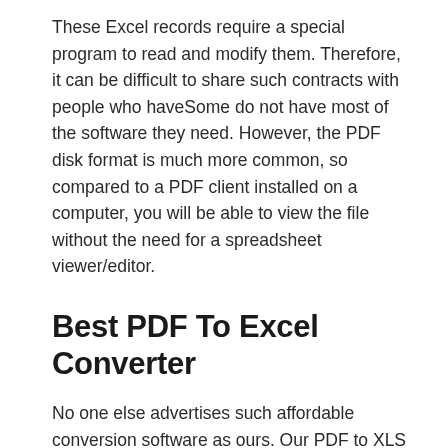These Excel records require a special program to read and modify them. Therefore, it can be difficult to share such contracts with people who haveSome do not have most of the software they need. However, the PDF disk format is much more common, so compared to a PDF client installed on a computer, you will be able to view the file without the need for a spreadsheet viewer/editor.
Best PDF To Excel Converter
No one else advertises such affordable conversion software as ours. Our PDF to XLS online converter is the absolute best solution to convert PDF to editable Excel spreadsheet with tables and hence formulas.
PDF To Excel Converts IPhone